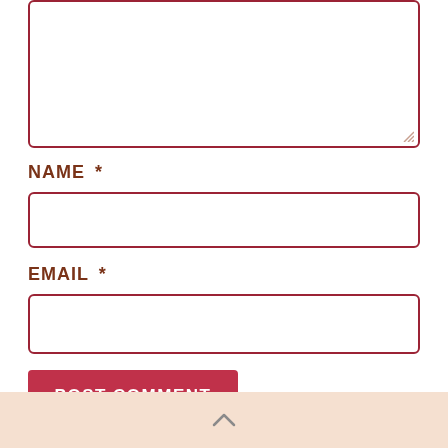[Figure (screenshot): Comment form textarea (large empty input box with red border)]
NAME *
[Figure (screenshot): Name input field (empty text input with red border)]
EMAIL *
[Figure (screenshot): Email input field (empty text input with red border)]
POST COMMENT
^